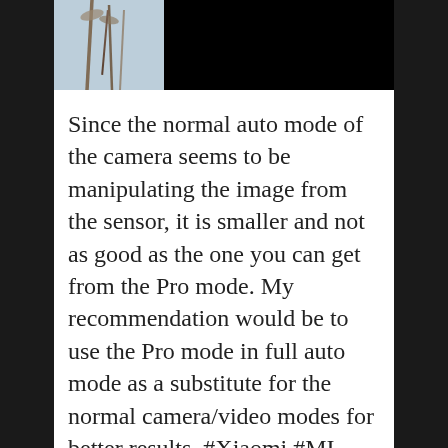[Figure (photo): Partial photo of plant stems/grass against a light blue-grey sky on the left side; right portion is black]
Since the normal auto mode of the camera seems to be manipulating the image from the sensor, it is smaller and not as good as the one you can get from the Pro mode. My recommendation would be to use the Pro mode in full auto mode as a substitute for the normal camera/video modes for better results. #Xiaomi #MI #MI10T #Photography